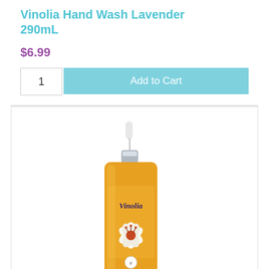Vinolia Hand Wash Lavender 290mL
$6.99
1  Add to Cart
[Figure (photo): Vinolia Hand Wash Sandalwood 290mL pump bottle with orange/amber color and floral design on label]
Vinolia Hand Wash Sandalwood 290mL